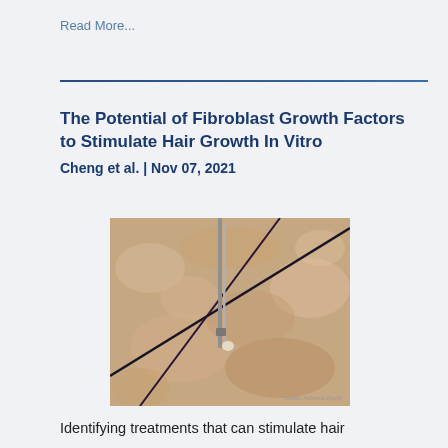Read More...
The Potential of Fibroblast Growth Factors to Stimulate Hair Growth In Vitro
Cheng et al. | Nov 07, 2021
[Figure (photo): Close-up photograph of human skin with dark hair strands and a needle or tweezers instrument near a hair follicle root. Credit: Antenna Moph.]
Identifying treatments that can stimulate hair